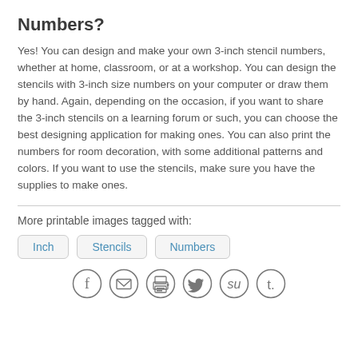Numbers?
Yes! You can design and make your own 3-inch stencil numbers, whether at home, classroom, or at a workshop. You can design the stencils with 3-inch size numbers on your computer or draw them by hand. Again, depending on the occasion, if you want to share the 3-inch stencils on a learning forum or such, you can choose the best designing application for making ones. You can also print the numbers for room decoration, with some additional patterns and colors. If you want to use the stencils, make sure you have the supplies to make ones.
More printable images tagged with:
Inch
Stencils
Numbers
[Figure (other): Social sharing icons: Facebook, Email, Print, Twitter, StumbleUpon, Tumblr]